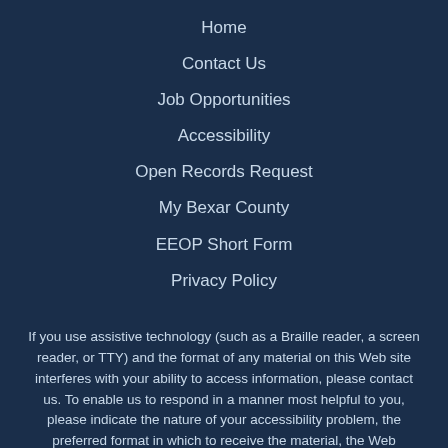Home
Contact Us
Job Opportunities
Accessibility
Open Records Request
My Bexar County
EEOP Short Form
Privacy Policy
If you use assistive technology (such as a Braille reader, a screen reader, or TTY) and the format of any material on this Web site interferes with your ability to access information, please contact us. To enable us to respond in a manner most helpful to you, please indicate the nature of your accessibility problem, the preferred format in which to receive the material, the Web address of the requested material, and your contact information.